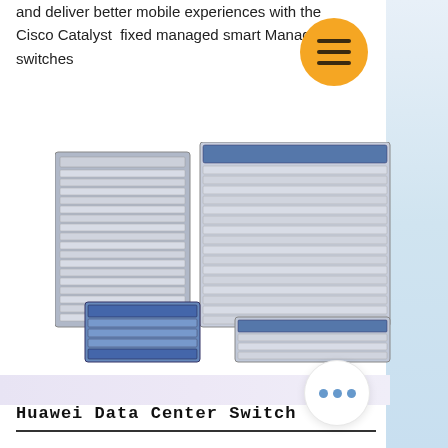and deliver better mobile experiences with the Cisco Catalyst fixed managed smart Managed switches
[Figure (photo): Multiple Huawei/Cisco network switches and data center equipment stacked and arranged, including rack-mount switches and chassis units in gray and blue colors.]
Huawei Data Center Switch
Huawei CloudEngine 12800 series switches are next-generation, high-performance core switches designed for data centers and high-end campus networks